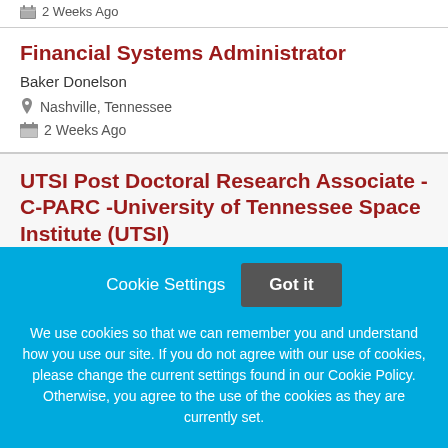2 Weeks Ago
Financial Systems Administrator
Baker Donelson
Nashville, Tennessee
2 Weeks Ago
UTSI Post Doctoral Research Associate - C-PARC -University of Tennessee Space Institute (UTSI)
Cookie Settings
Got it
We use cookies so that we can remember you and understand how you use our site. If you do not agree with our use of cookies, please change the current settings found in our Cookie Policy. Otherwise, you agree to the use of the cookies as they are currently set.